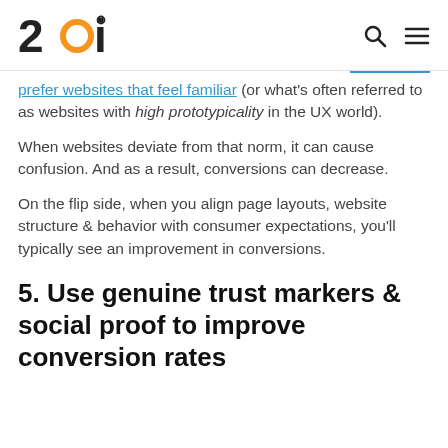20i
prefer websites that feel familiar (or what's often referred to as websites with high prototypicality in the UX world).
When websites deviate from that norm, it can cause confusion. And as a result, conversions can decrease.
On the flip side, when you align page layouts, website structure & behavior with consumer expectations, you'll typically see an improvement in conversions.
5. Use genuine trust markers & social proof to improve conversion rates